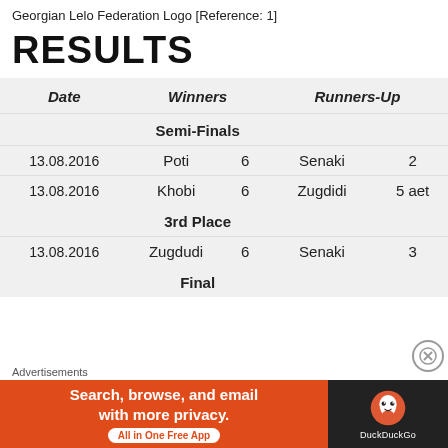Georgian Lelo Federation Logo [Reference: 1]
RESULTS
| Date | Winners |  | Runners-Up |  |
| --- | --- | --- | --- | --- |
| Semi-Finals |  |  |  |  |
| 13.08.2016 | Poti | 6 | Senaki | 2 |
| 13.08.2016 | Khobi | 6 | Zugdidi | 5 aet |
| 3rd Place |  |  |  |  |
| 13.08.2016 | Zugdudi | 6 | Senaki | 3 |
| Final |  |  |  |  |
[Figure (other): DuckDuckGo advertisement banner: orange background with text 'Search, browse, and email with more privacy. All in One Free App' and DuckDuckGo logo on dark background.]